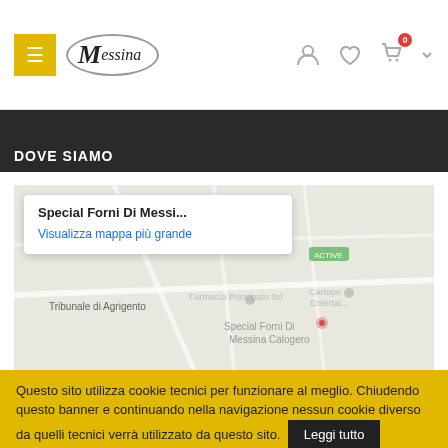Special Forni Di Messina - Messina logo header with menu, account, wishlist, and cart icons
DOVE SIAMO
[Figure (screenshot): Google map screenshot showing Special Forni Di Messina Calogero location with popup tooltip reading 'Special Forni Di Messi...' and link 'Visualizza mappa più grande'. Map shows Tribunale di Agrigento, Farmacia Principato Srl, Cartope Enterta labels.]
Questo sito utilizza cookie tecnici per funzionare al meglio. Chiudendo questo banner e continuando nella navigazione nessun cookie diverso da quelli tecnici verrà utilizzato da questo sito.
Leggi tutto
Cookie Settings
Accetto
x